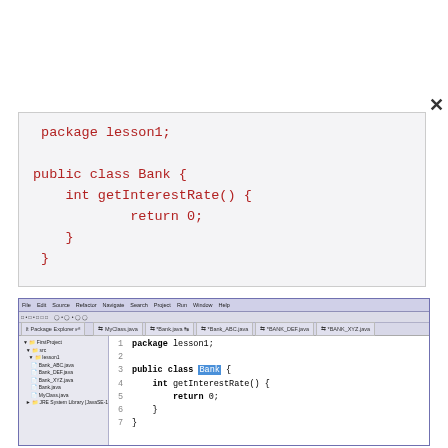[Figure (screenshot): Code editor overlay showing a Java code snippet for 'package lesson1; public class Bank { int getInterestRate() { return 0; } }' with red monospace font on light gray background, with a close (X) button]
[Figure (screenshot): IDE (Eclipse) screenshot showing Package Explorer on the left with project files (Bank_ABC.java, Bank_DEF.java, Bank_XYZ.java, Bank.java, MyClass.java) and code editor on the right showing lines 1-7 of the same Java Bank class with 'Bank' highlighted on line 3]